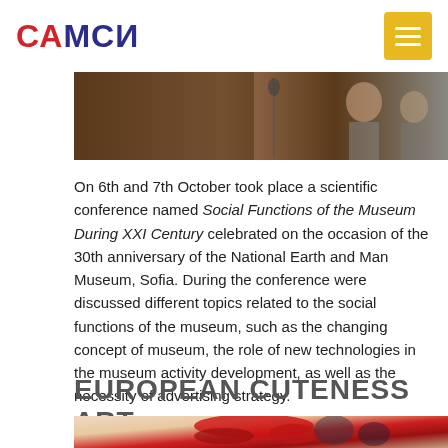САМСИ
[Figure (photo): Photo of a person at a conference or lecture, with microphone and wooden panel background, and another person visible on the right]
On 6th and 7th October took place a scientific conference named Social Functions of the Museum During XXI Century celebrated on the occasion of the 30th anniversary of the National Earth and Man Museum, Sofia. During the conference were discussed different topics related to the social functions of the museum, such as the changing concept of museum, the role of new technologies in the museum activity development, as well as the necessity of advertising strategy.
EUROPEAN CUTENESS ART
[Figure (photo): Colorful illustration or artwork showing a stylized cartoon-like creature with red and dark colors]